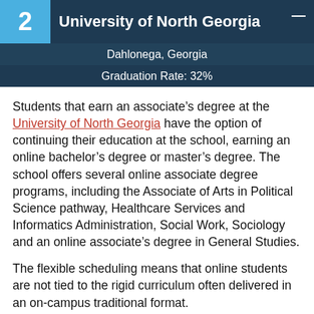2  University of North Georgia
Dahlonega, Georgia
Graduation Rate: 32%
Students that earn an associate's degree at the University of North Georgia have the option of continuing their education at the school, earning an online bachelor's degree or master's degree. The school offers several online associate degree programs, including the Associate of Arts in Political Science pathway, Healthcare Services and Informatics Administration, Social Work, Sociology and an online associate's degree in General Studies.
The flexible scheduling means that online students are not tied to the rigid curriculum often delivered in an on-campus traditional format.